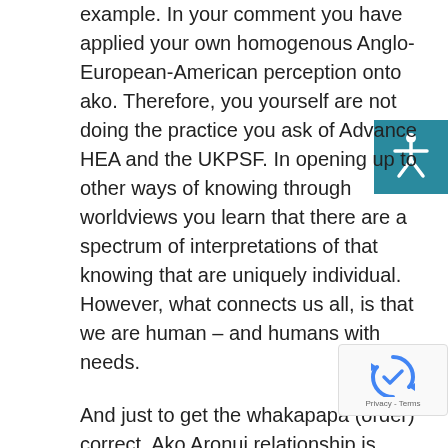example. In your comment you have applied your own homogenous Anglo-European-American perception onto ako. Therefore, you yourself are not doing the practice you ask of Advance HEA and the UKPSF. In opening up to other ways of knowing through worldviews you learn that there are a spectrum of interpretations of that knowing that are uniquely individual. However, what connects us all, is that we are human – and humans with needs.
And just to get the whakapapa (order) correct, Ako Aronui relationship is directly with HEA not via Ako Aotearoa.
Second is your point on indigenisation. In a Tr...